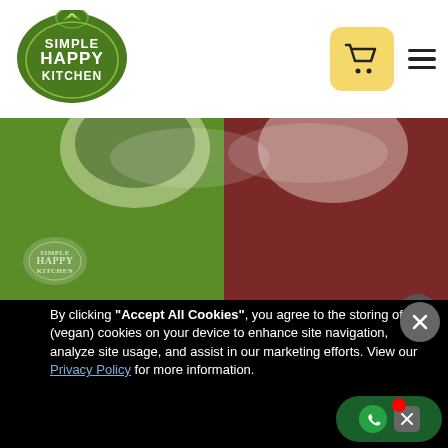[Figure (logo): Simple Happy Kitchen logo - green circular badge with leaf/plant motif and text SIMPLE HAPPY KITCHEN]
[Figure (photo): Banner image split into two halves: left half green background with a bowl of salad and Simple Happy Kitchen logo watermark, right half dark red/maroon background with a bowl dish partially visible]
The simple happy kitchen has been certified...
By clicking “Accept All Cookies”, you agree to the storing of (vegan) cookies on your device to enhance site navigation, analyze site usage, and assist in our marketing efforts. View our Privacy Policy for more information.
ACCEPT
DENY
Preferences